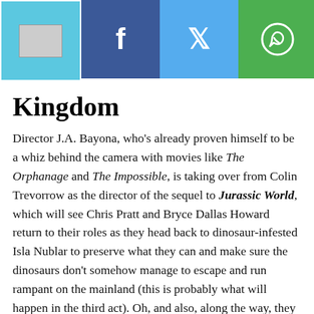[Figure (other): Website navigation header bar with logo placeholder, Facebook share button, Twitter share button, WhatsApp share button, and NEXT arrow button on black background]
Kingdom
Director J.A. Bayona, who's already proven himself to be a whiz behind the camera with movies like The Orphanage and The Impossible, is taking over from Colin Trevorrow as the director of the sequel to Jurassic World, which will see Chris Pratt and Bryce Dallas Howard return to their roles as they head back to dinosaur-infested Isla Nublar to preserve what they can and make sure the dinosaurs don't somehow manage to escape and run rampant on the mainland (this is probably what will happen in the third act). Oh, and also, along the way, they discover that the island is also a volcano, so they have that bit of joy to contend with. Bayona has compared the sequel to The Empire Strikes Back and